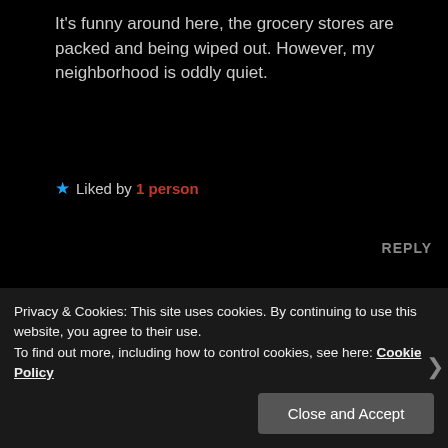It's funny around here, the grocery stores are packed and being wiped out. However, my neighborhood is oddly quiet.
★ Liked by 1 person
REPLY
Cherryl
MARCH 14, 2020 AT 2:00 PM
Privacy & Cookies: This site uses cookies. By continuing to use this website, you agree to their use.
To find out more, including how to control cookies, see here: Cookie Policy
Close and Accept